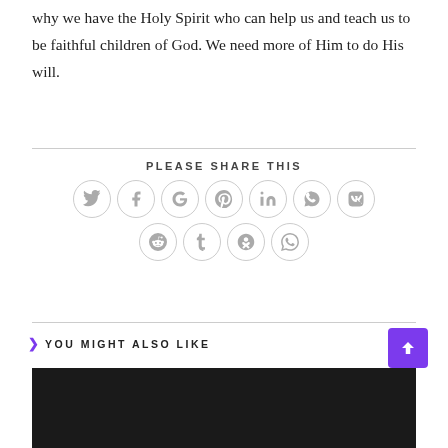why we have the Holy Spirit who can help us and teach us to be faithful children of God. We need more of Him to do His will.
PLEASE SHARE THIS
[Figure (infographic): Social media sharing icons in circles: Twitter, Facebook, Google+, Pinterest, LinkedIn, Viber, VK (top row); Reddit, Tumblr, Odnoklassniki, WhatsApp (bottom row)]
YOU MIGHT ALSO LIKE
[Figure (photo): Dark/black image area]